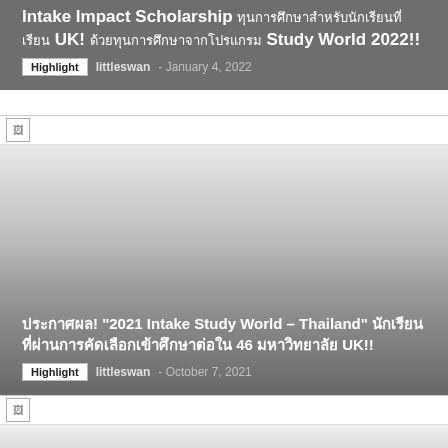Intake Impact Scholarship ทุนการศึกษาสำหรับนักเรียนที่เรียน UK! ด้วยทุนการศึกษาจากโปรแกรม Study World 2022!!
Highlight  littleswan - January 4, 2022
[Figure (photo): Broken image placeholder icon (white background)]
[Figure (photo): Large card image with gradient gray background fading from light gray top to dark gray bottom]
ประกาศผล! "2021 Intake Study World – Thailand" นักเรียนที่ผ่านการคัดเลือกเข้าศึกษาต่อใน 46 มหาวิทยาลัย UK!!
Highlight  littleswan - October 7, 2021
[Figure (photo): Broken image placeholder icon (white background)]
[Figure (photo): Partial card image with gradient gray background at bottom of page]